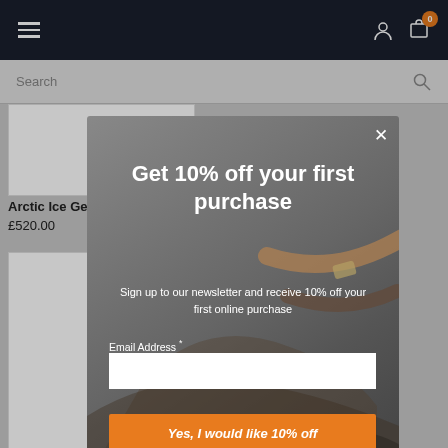Navigation header with hamburger menu, account icon, and cart (0)
Search
Arctic Ice Genuine Ostrich Quill Belt
£520.00
[Figure (screenshot): Modal popup overlay on e-commerce page. Contains: 'Get 10% off your first purchase', 'Sign up to our newsletter and receive 10% off your first online purchase', Email Address field, 'Yes, I would like 10% off' orange button. Background shows leather belts/accessories on dark background.]
Get 10% off your first purchase
Sign up to our newsletter and receive 10% off your first online purchase
Email Address *
Yes, I would like 10% off